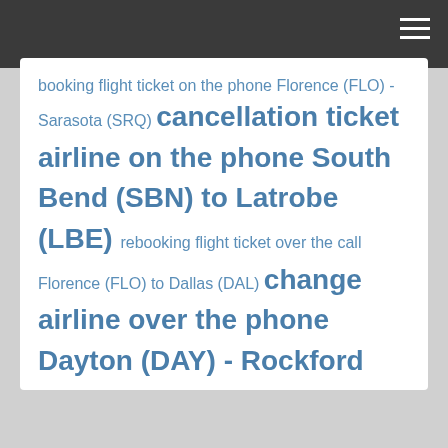booking flight ticket on the phone Florence (FLO) - Sarasota (SRQ) cancellation ticket airline on the phone South Bend (SBN) to Latrobe (LBE) rebooking flight ticket over the call Florence (FLO) to Dallas (DAL) change airline over the phone Dayton (DAY) - Rockford (RFD) cancellation ticket flight over the phone Reno (RNO) to Rock Springs (RKS)